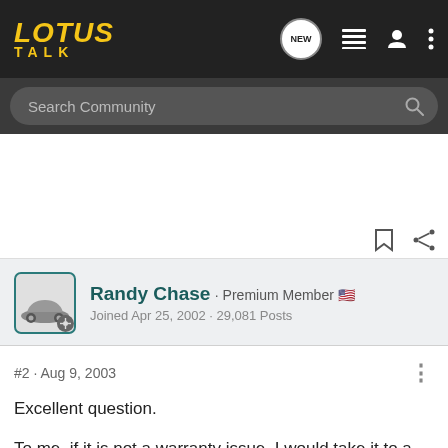LOTUS TALK
Search Community
Randy Chase · Premium Member
Joined Apr 25, 2002 · 29,081 Posts
#2 · Aug 9, 2003
Excellent question.

To me, if it is not a warranty issue, I would take it to a trusted Toyota mechanic. Anyone know how Lotus handles that? Do